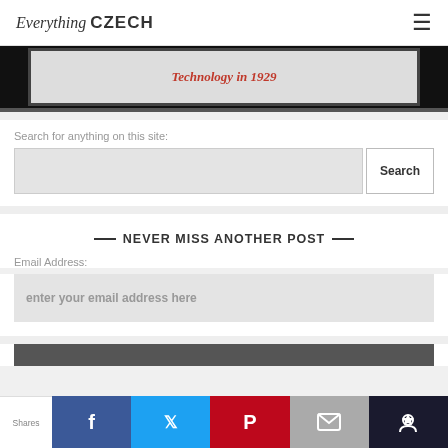Everything CZECH
[Figure (photo): Banner image with dark background and overlay box showing italic red text 'Technology in 1929']
Search for anything on this site:
Search
— NEVER MISS ANOTHER POST —
Email Address:
enter your email address here
Shares | Facebook | Twitter | Pinterest | Email | Crown